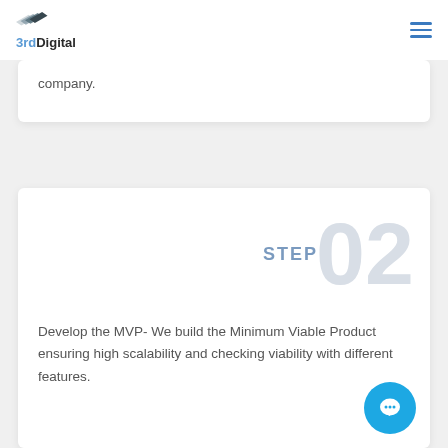3rdDigital
company.
STEP 02
Develop the MVP- We build the Minimum Viable Product ensuring high scalability and checking viability with different features.